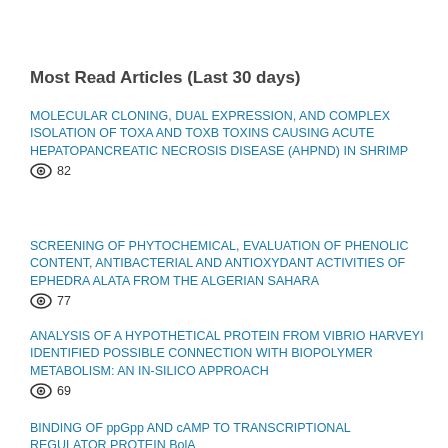Most Read Articles (Last 30 days)
MOLECULAR CLONING, DUAL EXPRESSION, AND COMPLEX ISOLATION OF TOXA AND TOXB TOXINS CAUSING ACUTE HEPATOPANCREATIC NECROSIS DISEASE (AHPND) IN SHRIMP · 82 views
SCREENING OF PHYTOCHEMICAL, EVALUATION OF PHENOLIC CONTENT, ANTIBACTERIAL AND ANTIOXYDANT ACTIVITIES OF EPHEDRA ALATA FROM THE ALGERIAN SAHARA · 77 views
ANALYSIS OF A HYPOTHETICAL PROTEIN FROM VIBRIO HARVEYI IDENTIFIED POSSIBLE CONNECTION WITH BIOPOLYMER METABOLISM: AN IN-SILICO APPROACH · 69 views
BINDING OF ppGpp AND cAMP TO TRANSCRIPTIONAL REGULATOR PROTEIN BolA